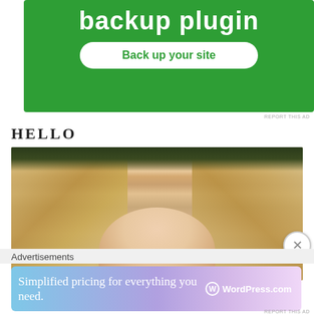[Figure (screenshot): Green advertisement banner showing 'backup plugin' text and a 'Back up your site' button on green background]
REPORT THIS AD
HELLO
[Figure (photo): Close-up photo of top of a person's head showing blonde hair with visible scalp/thinning at the crown]
Advertisements
[Figure (screenshot): WordPress.com advertisement showing 'Simplified pricing for everything you need.' with WordPress.com logo on gradient blue-purple background]
REPORT THIS AD